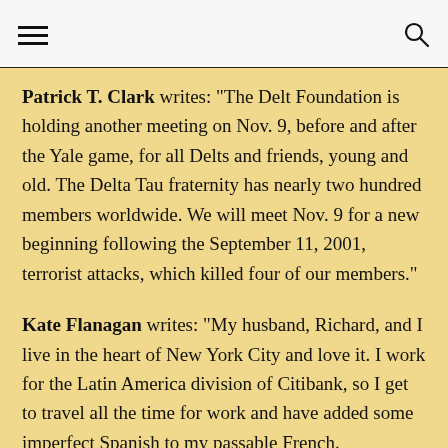Patrick T. Clark writes: "The Delt Foundation is holding another meeting on Nov. 9, before and after the Yale game, for all Delts and friends, young and old. The Delta Tau fraternity has nearly two hundred members worldwide. We will meet Nov. 9 for a new beginning following the September 11, 2001, terrorist attacks, which killed four of our members."
Kate Flanagan writes: "My husband, Richard, and I live in the heart of New York City and love it. I work for the Latin America division of Citibank, so I get to travel all the time for work and have added some imperfect Spanish to my passable French.
Lori Simon Gordon, of Chicago, writes that she was